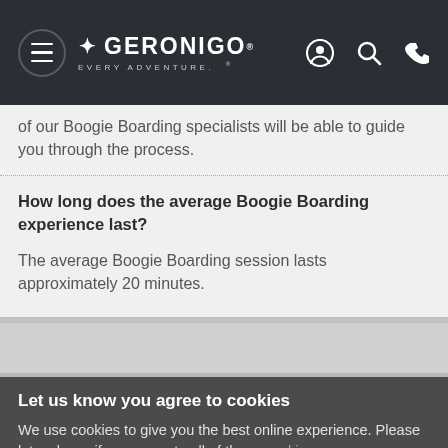GERONIGO — EVERY ADVENTURE. (navigation bar with hamburger menu, logo, user icon, search icon, phone icon)
of our Boogie Boarding specialists will be able to guide you through the process.
How long does the average Boogie Boarding experience last?
The average Boogie Boarding session lasts approximately 20 minutes.
Let us know you agree to cookies
We use cookies to give you the best online experience. Please let us know if you agree to all of these cookies.
✓ OK   Take me to settings